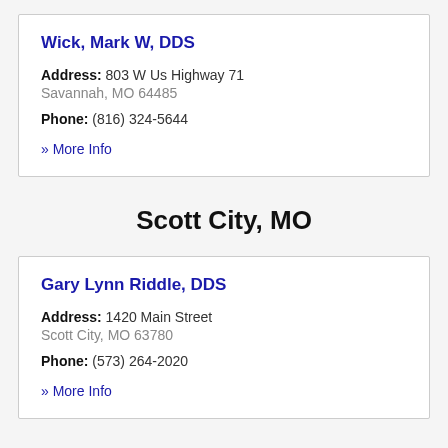Wick, Mark W, DDS
Address: 803 W Us Highway 71
Savannah, MO 64485
Phone: (816) 324-5644
» More Info
Scott City, MO
Gary Lynn Riddle, DDS
Address: 1420 Main Street
Scott City, MO 63780
Phone: (573) 264-2020
» More Info